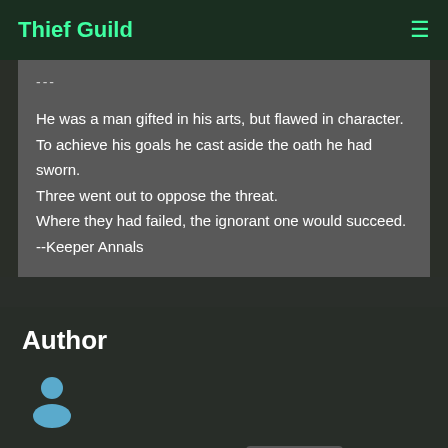Thief Guild
---

He was a man gifted in his arts, but flawed in character.
To achieve his goals he cast aside the oath he had sworn.
Three went out to oppose the threat.
Where they had failed, the ignorant one would succeed.
--Keeper Annals
Author
Eshaktaar (Renzo Thönen) Fan Missions
Author